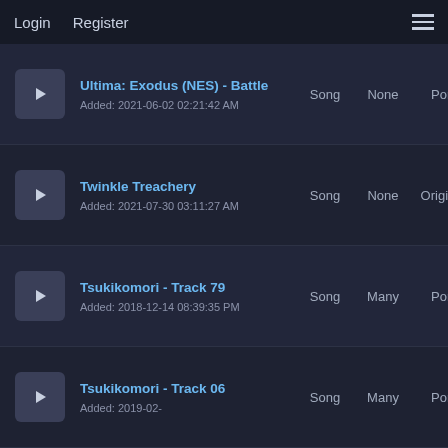Login  Register
|  | Title / Added | Type | Count | Port | # |
| --- | --- | --- | --- | --- | --- |
| ▶ | Ultima: Exodus (NES) - Battle
Added: 2021-06-02 02:21:42 AM | Song | None | Port | 0 |
| ▶ | Twinkle Treachery
Added: 2021-07-30 03:11:27 AM | Song | None | Original | 2 |
| ▶ | Tsukikomori - Track 79
Added: 2018-12-14 08:39:35 PM | Song | Many | Port | 0 |
| ▶ | Tsukikomori - Track 06
Added: 2019-02- | Song | Many | Port | 1 |